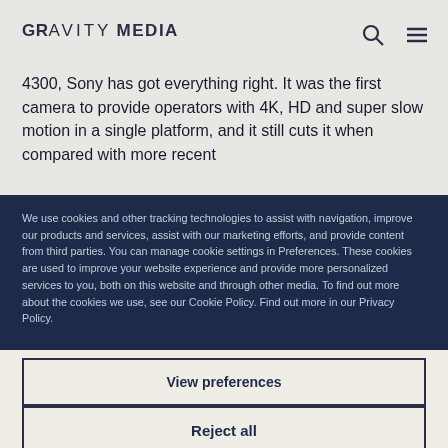GR AVITY MEDIA
4300, Sony has got everything right. It was the first camera to provide operators with 4K, HD and super slow motion in a single platform, and it still cuts it when compared with more recent
We use cookies and other tracking technologies to assist with navigation, improve our products and services, assist with our marketing efforts, and provide content from third parties. You can manage cookie settings in Preferences. These cookies are used to improve your website experience and provide more personalized services to you, both on this website and through other media. To find out more about the cookies we use, see our Cookie Policy. Find out more in our Privacy Policy.
View preferences
Reject all
Accept all